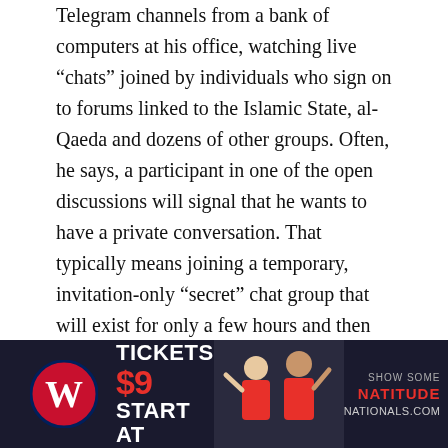Telegram channels from a bank of computers at his office, watching live “chats” joined by individuals who sign on to forums linked to the Islamic State, al-Qaeda and dozens of other groups. Often, he says, a participant in one of the open discussions will signal that he wants to have a private conversation. That typically means joining a temporary, invitation-only “secret” chat group that will exist for only a few hours and then disappear.
“If you’re not watching at that precise moment, you’d never know about it,” Stalinsky said.
[The Berlin attack is no surprise. Experts have issued warnings for years.]
Even the more public conversations often convey specifi…
[Figure (infographic): Washington Nationals advertisement banner: Tickets start at $9. Show some NATITUDE. nationals.com. Features Nationals logo and fans.]